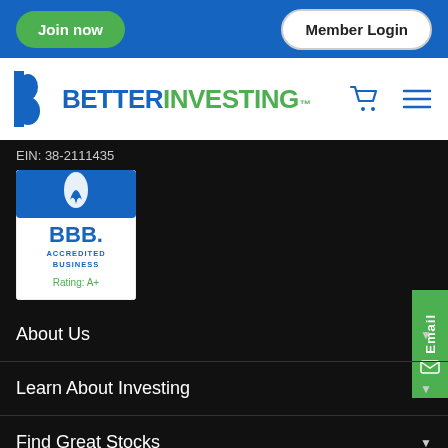Join now | Member Login
[Figure (logo): BetterInvesting logo with blue B icon and text BETTER in blue, INVESTING in green]
EIN: 38-2111435
[Figure (logo): BBB Accredited Business seal with Rating: A+]
About Us
Learn About Investing
Find Great Stocks
Stock Investment Clubs